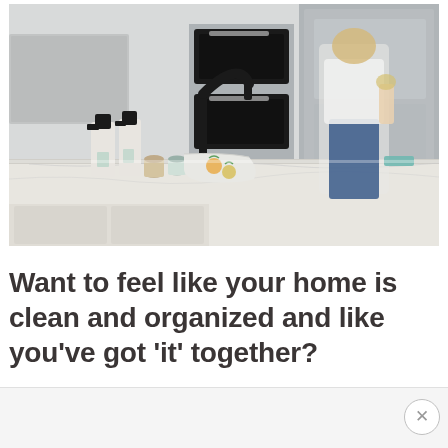[Figure (photo): Photo of a modern white kitchen with a marble countertop. In the foreground are two black spray bottles, small glass jars, and a folded dish towel with a fruit print design. In the background, a woman in blue jeans and a white shirt stands at the counter near stainless steel appliances (double oven and refrigerator).]
Want to feel like your home is clean and organized and like you've got 'it' together?